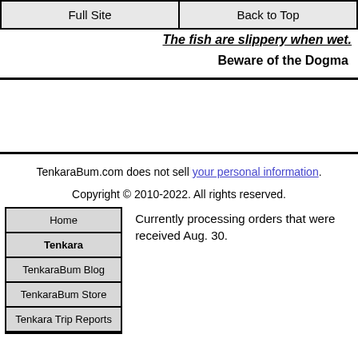Full Site | Back to Top
The fish are slippery when wet.
Beware of the Dogma
TenkaraBum.com does not sell your personal information.
Copyright © 2010-2022. All rights reserved.
Home
Tenkara
TenkaraBum Blog
TenkaraBum Store
Tenkara Trip Reports
Currently processing orders that were received Aug. 30.